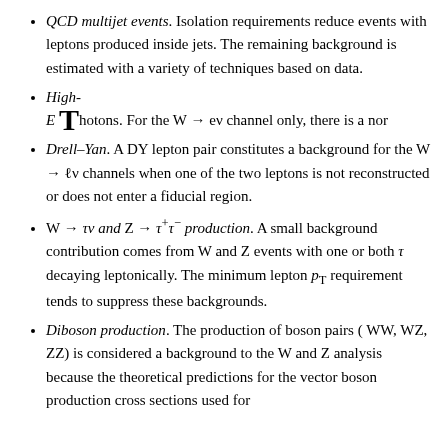QCD multijet events. Isolation requirements reduce events with leptons produced inside jets. The remaining background is estimated with a variety of techniques based on data.
High-E T photons. For the W → eν channel only, there is a non-...
Drell–Yan. A DY lepton pair constitutes a background for the W → ℓν channels when one of the two leptons is not reconstructed or does not enter a fiducial region.
W → τν and Z → τ+τ− production. A small background contribution comes from W and Z events with one or both τ decaying leptonically. The minimum lepton pT requirement tends to suppress these backgrounds.
Diboson production. The production of boson pairs (WW, WZ, ZZ) is considered a background to the W and Z analysis because the theoretical predictions for the vector boson production cross sections used for